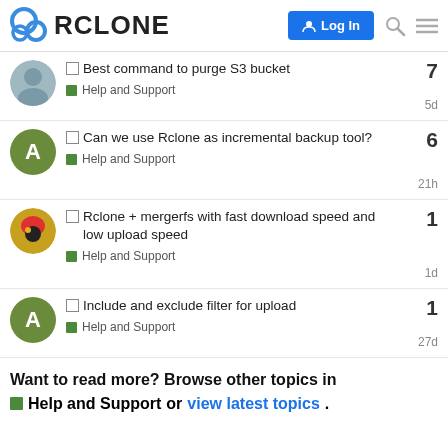RCLONE — Log In
Best command to purge S3 bucket — Help and Support — 7 — 5d
Can we use Rclone as incremental backup tool? — Help and Support — 6 — 21h
Rclone + mergerfs with fast download speed and low upload speed — Help and Support — 1 — 1d
Include and exclude filter for upload — Help and Support — 1 — 27d
Want to read more? Browse other topics in Help and Support or view latest topics.